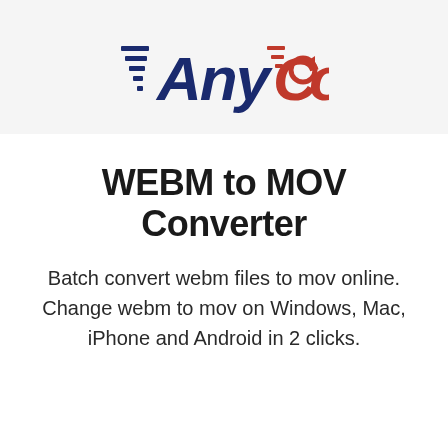[Figure (logo): AnyConv logo with navy blue speed-line styled lettering and red 'C' with circular arrow icon]
WEBM to MOV Converter
Batch convert webm files to mov online. Change webm to mov on Windows, Mac, iPhone and Android in 2 clicks.